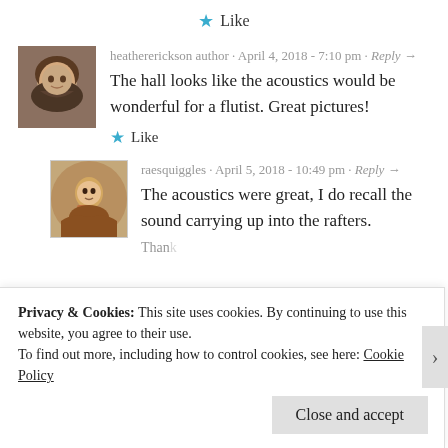★ Like
[Figure (photo): Avatar photo of heathererickson author - a woman with curly brown hair]
heathererickson author · April 4, 2018 - 7:10 pm · Reply →
The hall looks like the acoustics would be wonderful for a flutist. Great pictures!
★ Like
[Figure (photo): Avatar photo of raesquiggles - a circular portrait painting of a figure]
raesquiggles · April 5, 2018 - 10:49 pm · Reply →
The acoustics were great, I do recall the sound carrying up into the rafters.
Privacy & Cookies: This site uses cookies. By continuing to use this website, you agree to their use. To find out more, including how to control cookies, see here: Cookie Policy
Close and accept